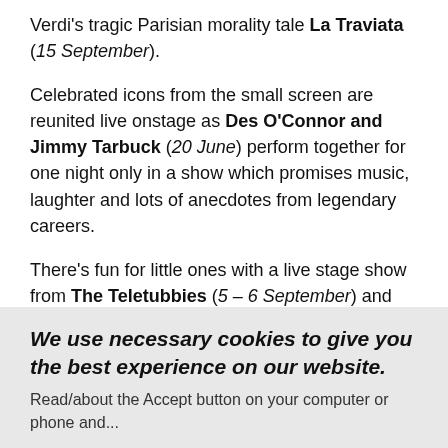Verdi's tragic Parisian morality tale La Traviata (15 September).
Celebrated icons from the small screen are reunited live onstage as Des O'Connor and Jimmy Tarbuck (20 June) perform together for one night only in a show which promises music, laughter and lots of anecdotes from legendary careers.
There's fun for little ones with a live stage show from The Teletubbies (5 – 6 September) and May half term welcomes a visit from the classic Alice in Wonderland (30 – 31 May) which has been wonderfully reimagined for the stage in this hilarious new family musical.
Pick up your copy of our Summer 2018 brochure from the
We use necessary cookies to give you the best experience on our website.
Read/about the Accept button on your computer or phone and...